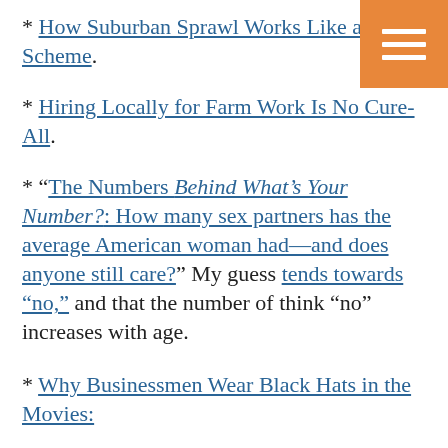* How Suburban Sprawl Works Like a Ponzi Scheme.
* Hiring Locally for Farm Work Is No Cure-All.
* “The Numbers Behind What’s Your Number?: How many sex partners has the average American woman had—and does anyone still care?” My guess tends towards “no,” and that the number of think “no” increases with age.
* Why Businessmen Wear Black Hats in the Movies: